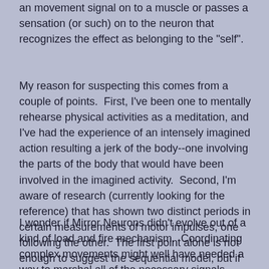an movement signal on to a muscle or passes a sensation (or such) on to the neuron that recognizes the effect as belonging to the "self".
My reason for suspecting this comes from a couple of points.  First, I've been one to mentally rehearse physical activities as a meditation, and I've had the experience of an intensely imagined action resulting a jerk of the body--one involving the parts of the body that would have been involved in the imagined activity.  Second, I'm aware of research (currently looking for the reference) that has shown two distinct periods in certain measurements of motor impulses, one following the other.  The first point alone is not enough to suggest the sequential model, but if there is a sequential aspect to Mirror Neurons, then we should expect to see measurable artifacts.
I wonder if Mirror Neurons didn't evolve out of a kind of load and fire mechanism.  Coordinating complex movements might well have needed a way to marshal all of the necessary signals before allowing them to pass on to their final destination (TODO: Need